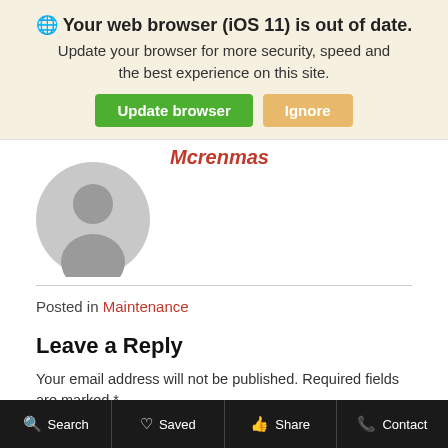🌐 Your web browser (iOS 11) is out of date. Update your browser for more security, speed and the best experience on this site.
Update browser | Ignore
Mcrenmas
[Figure (illustration): Grey circular avatar placeholder with silhouette of a person]
Posted in Maintenance
Leave a Reply
Your email address will not be published. Required fields are marked *
Comment
Search   Saved   Share   Contact